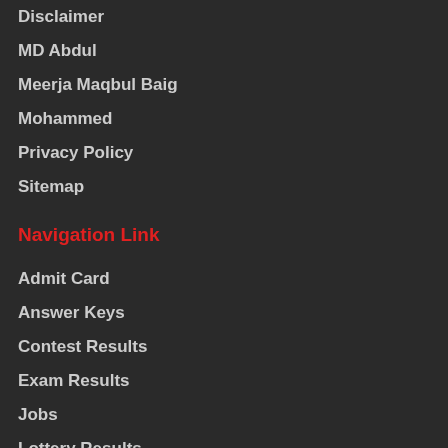Disclaimer
MD Abdul
Meerja Maqbul Baig
Mohammed
Privacy Policy
Sitemap
Navigation Link
Admit Card
Answer Keys
Contest Results
Exam Results
Jobs
Lottery Results
News
Previous Papers
Web Stories | Photos